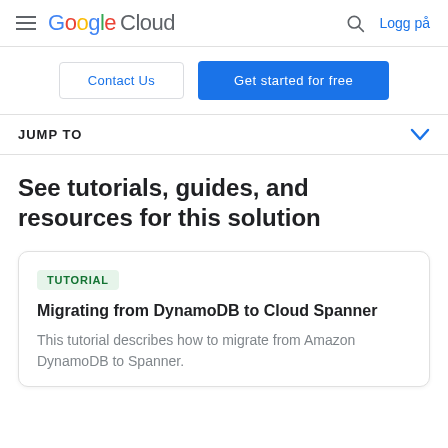Google Cloud — Logg på
Contact Us | Get started for free
JUMP TO
See tutorials, guides, and resources for this solution
TUTORIAL
Migrating from DynamoDB to Cloud Spanner
This tutorial describes how to migrate from Amazon DynamoDB to Spanner.